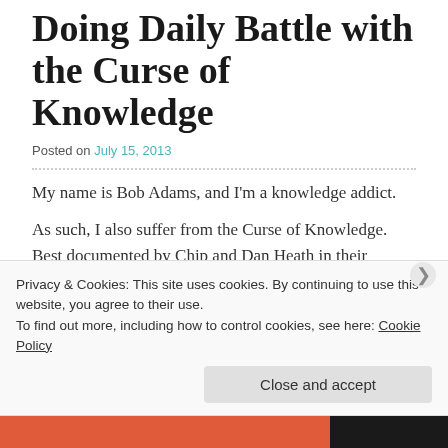Doing Daily Battle with the Curse of Knowledge
Posted on July 15, 2013
My name is Bob Adams, and I'm a knowledge addict.
As such, I also suffer from the Curse of Knowledge. Best documented by Chip and Dan Heath in their excellent book Made to Stick, it is defined as:
Once we know something, we find it hard to imagine
Privacy & Cookies: This site uses cookies. By continuing to use this website, you agree to their use.
To find out more, including how to control cookies, see here: Cookie Policy
Close and accept